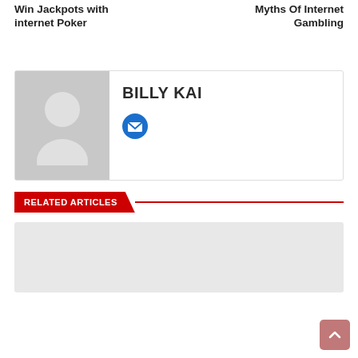Win Jackpots with internet Poker
Myths Of Internet Gambling
[Figure (photo): Author profile card for Billy Kai with placeholder avatar image, name BILLY KAI, and email icon]
RELATED ARTICLES
[Figure (photo): Placeholder grey card for related article]